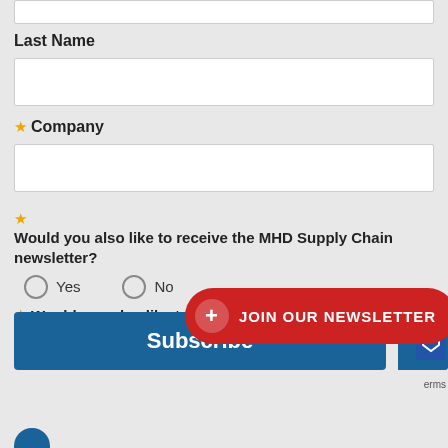Last Name
* Company
* Would you also like to receive the MHD Supply Chain newsletter?
Yes   No
* Would you also like to receive the Ferret newsletter?
Yes   No
+ JOIN OUR NEWSLETTER
Subscribe